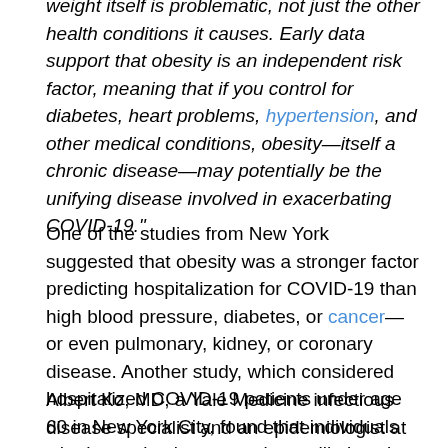weight itself is problematic, not just the other health conditions it causes. Early data support that obesity is an independent risk factor, meaning that if you control for diabetes, heart problems, hypertension, and other medical conditions, obesity—itself a chronic disease—may potentially be the unifying disease involved in exacerbating COVID-19."
One of the studies from New York suggested that obesity was a stronger factor predicting hospitalization for COVID-19 than high blood pressure, diabetes, or cancer—or even pulmonary, kidney, or coronary disease. Another study, which considered hospitalized COVID-19 patients under age 60 in New York City, found that individuals who have obesity were twice as likely to be hospitalized and even more likely to require critical care than those who do not have it.
Albert Ko, MD, a Yale Medicine infectious disease specialist and an epidemiologist at Yale School of Public Health